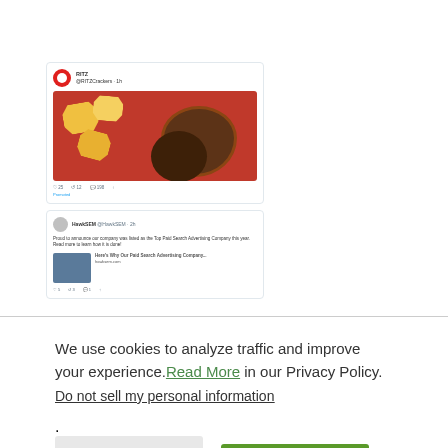[Figure (screenshot): Screenshot of two tweets: first tweet shows a sponsored post with a bowl of dip and chips on a red background; second tweet shows an organic post with a smaller thumbnail image and text, both on the HawkSEM Twitter feed.]
A sponsored post above an organic post on HawkSEM's
We use cookies to analyze traffic and improve your experience. Read More in our Privacy Policy. Do not sell my personal information.